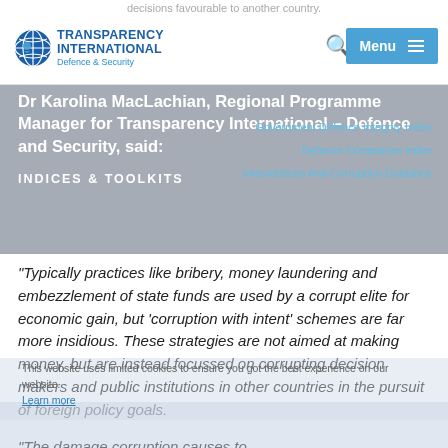decisions favourable to another country.
[Figure (logo): Transparency International Defence & Security logo with globe icon]
Government Defence Integrity Index
Defence Companies Index
INDICES & TOOLKITS
Interventions Anti-Corruption Guidance
Dr Karolina MacLachian, Regional Programme Manager for Transparency International – Defence and Security, said:
“Typically practices like bribery, money laundering and embezzlement of state funds are used by a corrupt elite for economic gain, but ‘corruption with intent’ schemes are far more insidious. These strategies are not aimed at making money, but are instead focussed on corrupting decision makers and public institutions in other countries in the pursuit of foreign policy goals.
This website uses limited cookies to ensure you get the best experience on our website.
Learn more
“The damage corruption causes to